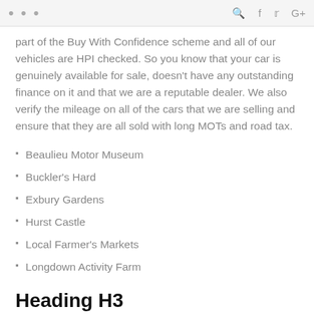... Q f y G+
part of the Buy With Confidence scheme and all of our vehicles are HPI checked. So you know that your car is genuinely available for sale, doesn't have any outstanding finance on it and that we are a reputable dealer. We also verify the mileage on all of the cars that we are selling and ensure that they are all sold with long MOTs and road tax.
Beaulieu Motor Museum
Buckler's Hard
Exbury Gardens
Hurst Castle
Local Farmer's Markets
Longdown Activity Farm
Heading H3